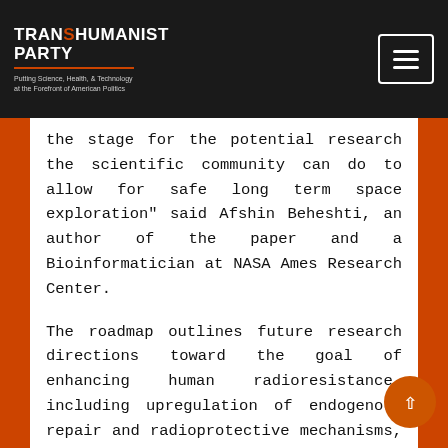Transhumanist Party — Putting Science, Health, & Technology at the Forefront of American Politics
the stage for the potential research the scientific community can do to allow for safe long term space exploration" said Afshin Beheshti, an author of the paper and a Bioinformatician at NASA Ames Research Center.
The roadmap outlines future research directions toward the goal of enhancing human radioresistance, including upregulation of endogenous repair and radioprotective mechanisms, possible leeways into gene therapy in order to enhance radioresistance via the translation of exogenous and engineered DNA repair and radioprotective mechanisms, or the substitution of